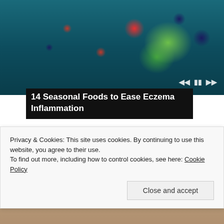[Figure (photo): A colorful salad bowl with berries (blueberries, raspberries, strawberries), avocado slices, greens, and herbs on a teal/blue wooden background. Slideshow navigation dots and media controls visible at bottom of image.]
14 Seasonal Foods to Ease Eczema Inflammation
[Figure (photo): A blonde woman with closed eyes, partially visible, with warm neutral background tones.]
Privacy & Cookies: This site uses cookies. By continuing to use this website, you agree to their use.
To find out more, including how to control cookies, see here: Cookie Policy
Close and accept